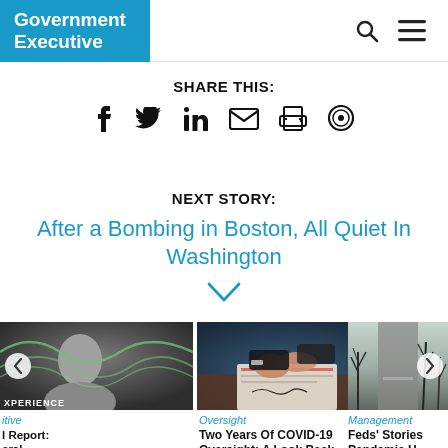Government Executive
SHARE THIS:
NEXT STORY:
After a Bombing in Boston, All Quiet In Washington
[Figure (photo): Thumbnail image of a smiling person with green wave graphics overlay, labeled XPERIENCE]
itive
l Report: eral rience
[Figure (photo): Photo of hands clasped over a signed document on a desk]
Oversight
Two Years Of COVID-19 Oversight: A Look Back
[Figure (photo): Photo of a road and bare winter trees]
Management
Feds' Stories Pandemic H Them